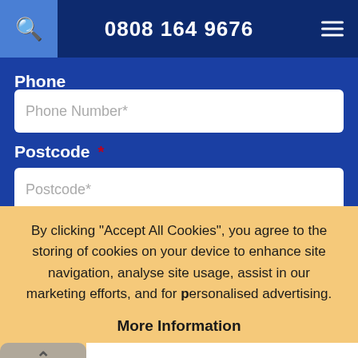0808 164 9676
Phone
Phone Number*
Postcode *
Postcode*
By clicking "Accept All Cookies", you agree to the storing of cookies on your device to enhance site navigation, analyse site usage, assist in our marketing efforts, and for personalised advertising.
More Information
Accept All Cookies